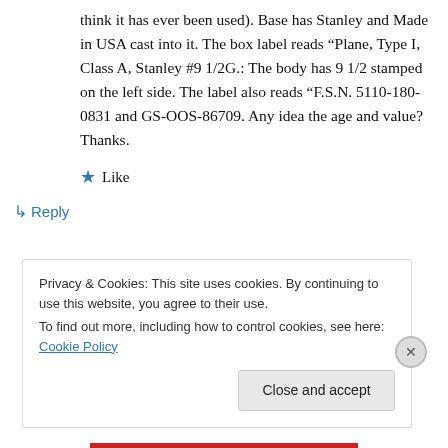think it has ever been used). Base has Stanley and Made in USA cast into it. The box label reads “Plane, Type I, Class A, Stanley #9 1/2G.: The body has 9 1/2 stamped on the left side. The label also reads “F.S.N. 5110-180-0831 and GS-OOS-86709. Any idea the age and value? Thanks.
★ Like
↵ Reply
Privacy & Cookies: This site uses cookies. By continuing to use this website, you agree to their use.
To find out more, including how to control cookies, see here: Cookie Policy